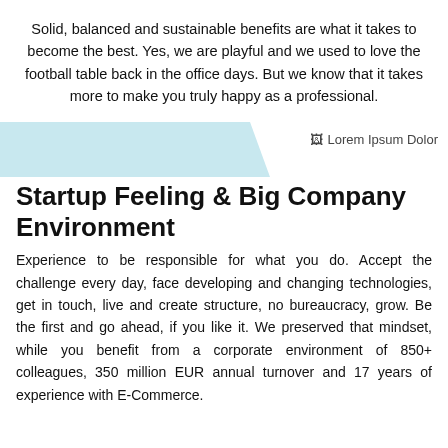Solid, balanced and sustainable benefits are what it takes to become the best. Yes, we are playful and we used to love the football table back in the office days. But we know that it takes more to make you truly happy as a professional.
[Figure (illustration): Light blue trapezoidal banner shape on the left and a broken image placeholder labeled 'Lorem Ipsum Dolor' on the right]
Startup Feeling & Big Company Environment
Experience to be responsible for what you do. Accept the challenge every day, face developing and changing technologies, get in touch, live and create structure, no bureaucracy, grow. Be the first and go ahead, if you like it. We preserved that mindset, while you benefit from a corporate environment of 850+ colleagues, 350 million EUR annual turnover and 17 years of experience with E-Commerce.